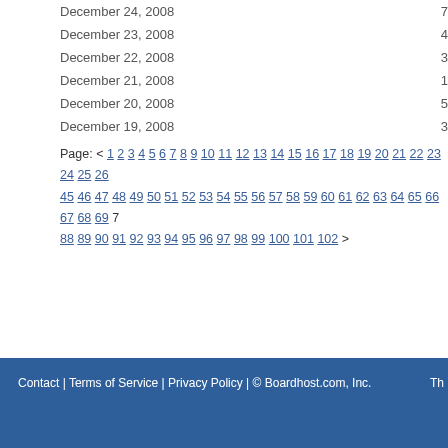December 24, 2008  7
December 23, 2008  4
December 22, 2008  3
December 21, 2008  1
December 20, 2008  5
December 19, 2008  3
Page: < 1 2 3 4 5 6 7 8 9 10 11 12 13 14 15 16 17 18 19 20 21 22 23 24 25 26 … 45 46 47 48 49 50 51 52 53 54 55 56 57 58 59 60 61 62 63 64 65 66 67 68 69 7… 88 89 90 91 92 93 94 95 96 97 98 99 100 101 102 >
Contact | Terms of Service | Privacy Policy | © Boardhost.com, Inc.  Th…